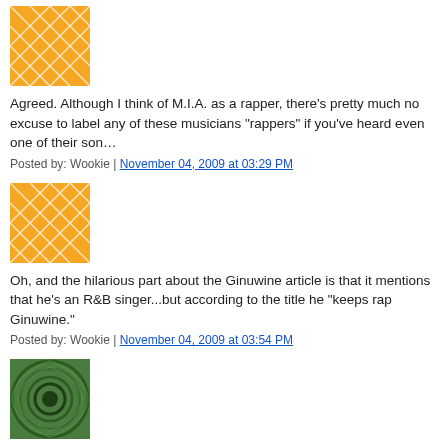[Figure (illustration): Orange geometric avatar with intersecting lines pattern]
Agreed. Although I think of M.I.A. as a rapper, there's pretty much no excuse to label any of these musicians "rappers" if you've heard even one of their songs.
Posted by: Wookie | November 04, 2009 at 03:29 PM
[Figure (illustration): Orange geometric avatar with intersecting lines pattern]
Oh, and the hilarious part about the Ginuwine article is that it mentions that he's an R&B singer...but according to the title he "keeps rap Ginuwine."
Posted by: Wookie | November 04, 2009 at 03:54 PM
[Figure (illustration): Green circular swirl/spiral avatar]
The label "rapper" is the cool moniker, didn't you know? SMDH.
So much for journalist's/caption writers etc and their FACT checking. And I mean the people who are hired and paid to do it either. Absolutely no sense.
Posted by: Soulafrodisiac | November 04, 2009 at 04:01 PM
[Figure (illustration): Partially visible avatar at bottom of page]